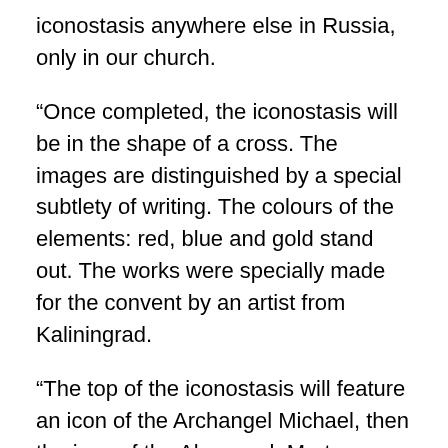iconostasis anywhere else in Russia, only in our church.
“Once completed, the iconostasis will be in the shape of a cross. The images are distinguished by a special subtlety of writing. The colours of the elements: red, blue and gold stand out. The works were specially made for the convent by an artist from Kaliningrad.
“The top of the iconostasis will feature an icon of the Archangel Michael, then the icon of the Alapaevsk Martyrs, then Job the Long-Suffering. In the center are Tsarina Alexandra, Tsesarevich Alexei, and Tsar Nicholas II.